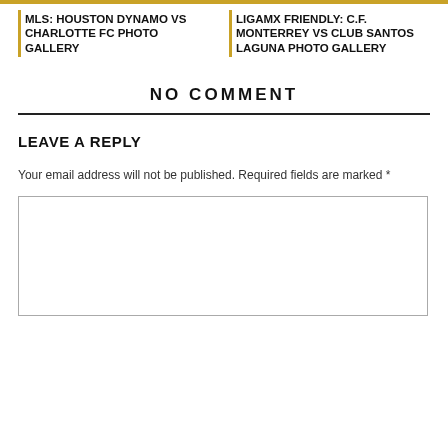MLS: HOUSTON DYNAMO VS CHARLOTTE FC PHOTO GALLERY
LIGAMX FRIENDLY: C.F. MONTERREY VS CLUB SANTOS LAGUNA PHOTO GALLERY
NO COMMENT
LEAVE A REPLY
Your email address will not be published. Required fields are marked *